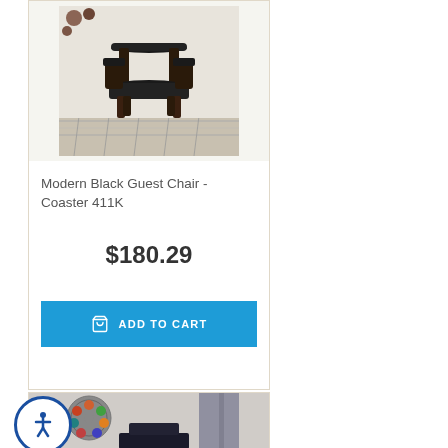[Figure (photo): Black leather guest chair with dark wood legs on a patterned rug, in a room setting]
Modern Black Guest Chair - Coaster 411K
$180.29
ADD TO CART
[Figure (photo): Second product card showing a chair with decorative circular wall art in background]